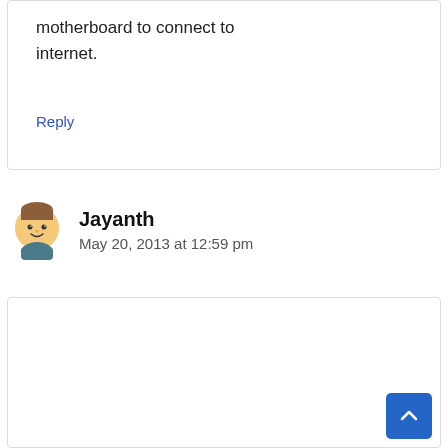motherboard to connect to internet.
Reply
Jayanth
May 20, 2013 at 12:59 pm
Hi Prajwal,
Need your help, could you please